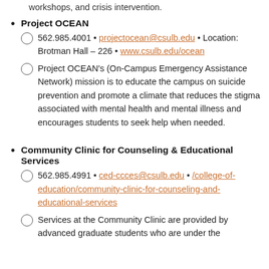workshops, and crisis intervention.
Project OCEAN
562.985.4001 • projectocean@csulb.edu • Location: Brotman Hall – 226 • www.csulb.edu/ocean
Project OCEAN's (On-Campus Emergency Assistance Network) mission is to educate the campus on suicide prevention and promote a climate that reduces the stigma associated with mental health and mental illness and encourages students to seek help when needed.
Community Clinic for Counseling & Educational Services
562.985.4991 • ced-ccces@csulb.edu • /college-of-education/community-clinic-for-counseling-and-educational-services
Services at the Community Clinic are provided by advanced graduate students who are under the